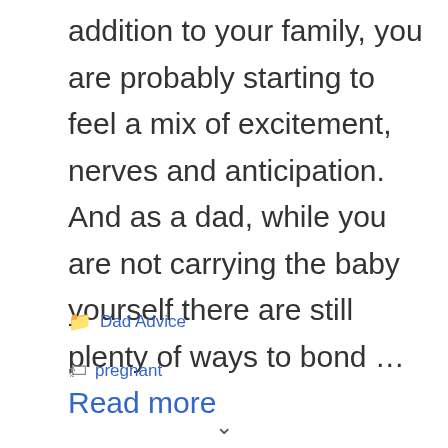addition to your family, you are probably starting to feel a mix of excitement, nerves and anticipation. And as a dad, while you are not carrying the baby yourself there are still plenty of ways to bond … Read more
Categories: Dad Advice
Tags: pregnant